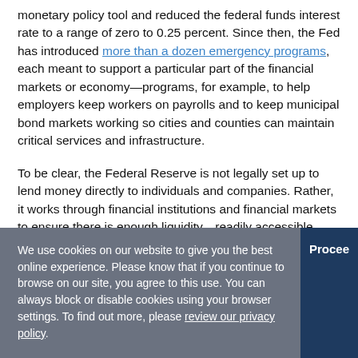monetary policy tool and reduced the federal funds interest rate to a range of zero to 0.25 percent. Since then, the Fed has introduced more than a dozen emergency programs, each meant to support a particular part of the financial markets or economy—programs, for example, to help employers keep workers on payrolls and to keep municipal bond markets working so cities and counties can maintain critical services and infrastructure.
To be clear, the Federal Reserve is not legally set up to lend money directly to individuals and companies. Rather, it works through financial institutions and financial markets to ensure there is enough liquidity—readily accessible money—to keep the financial system humming.
We use cookies on our website to give you the best online experience. Please know that if you continue to browse on our site, you agree to this use. You can always block or disable cookies using your browser settings. To find out more, please review our privacy policy.